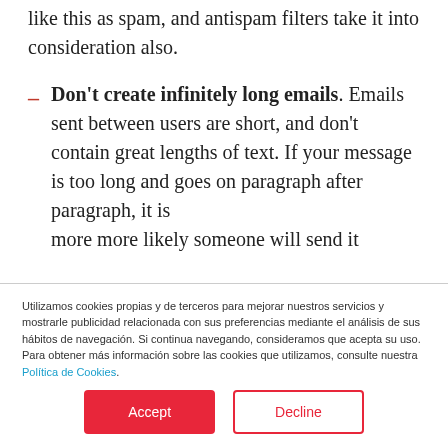like this as spam, and antispam filters take it into consideration also.
Don't create infinitely long emails. Emails sent between users are short, and don't contain great lengths of text. If your message is too long and goes on paragraph after paragraph, it is more more likely someone will send it
Utilizamos cookies propias y de terceros para mejorar nuestros servicios y mostrarle publicidad relacionada con sus preferencias mediante el análisis de sus hábitos de navegación. Si continua navegando, consideramos que acepta su uso. Para obtener más información sobre las cookies que utilizamos, consulte nuestra Política de Cookies.
Accept | Decline